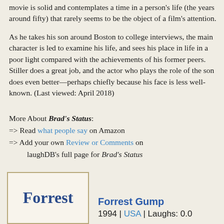movie is solid and contemplates a time in a person's life (the years around fifty) that rarely seems to be the object of a film's attention.
As he takes his son around Boston to college interviews, the main character is led to examine his life, and sees his place in life in a poor light compared with the achievements of his former peers. Stiller does a great job, and the actor who plays the role of the son does even better—perhaps chiefly because his face is less well-known. (Last viewed: April 2018)
More About Brad's Status: => Read what people say on Amazon => Add your own Review or Comments on laughDB's full page for Brad's Status
[Figure (illustration): Forrest Gump movie cover image showing the title 'Forrest' in bold blue text]
Forrest Gump 1994 | USA | Laughs: 0.0